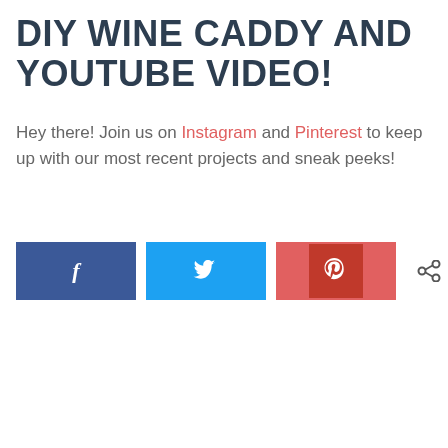DIY WINE CADDY AND YOUTUBE VIDEO!
Hey there! Join us on Instagram and Pinterest to keep up with our most recent projects and sneak peeks!
[Figure (infographic): Social share bar with Facebook, Twitter, and Pinterest buttons, showing 6.9K shares]